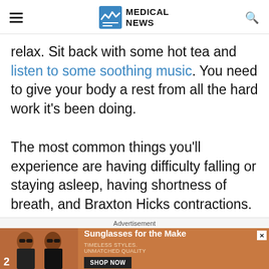MEDICAL NEWS
relax. Sit back with some hot tea and listen to some soothing music. You need to give your body a rest from all the hard work it’s been doing.
The most common things you’ll experience are having difficulty falling or staying asleep, having shortness of breath, and Braxton Hicks contractions. Your
Advertisement
[Figure (screenshot): Advertisement banner showing two women wearing sunglasses with text 'Sunglasses for the Make', 'TIMELESS STYLES. UNMATCHED QUALITY', and a 'SHOP NOW' button on dark background.]